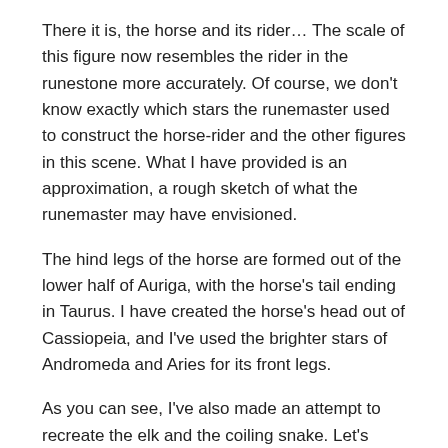There it is, the horse and its rider… The scale of this figure now resembles the rider in the runestone more accurately. Of course, we don't know exactly which stars the runemaster used to construct the horse-rider and the other figures in this scene. What I have provided is an approximation, a rough sketch of what the runemaster may have envisioned.
The hind legs of the horse are formed out of the lower half of Auriga, with the horse's tail ending in Taurus. I have created the horse's head out of Cassiopeia, and I've used the brighter stars of Andromeda and Aries for its front legs.
As you can see, I've also made an attempt to recreate the elk and the coiling snake. Let's explore the other figures in the scene in more detail.
The Hunt